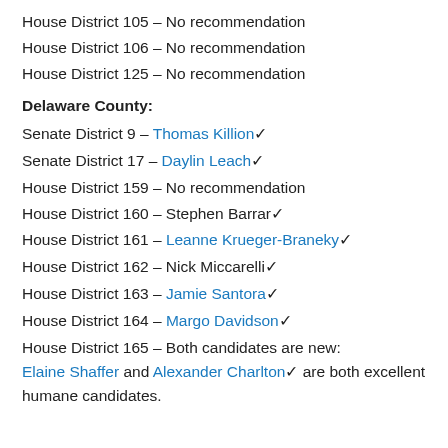House District 105 – No recommendation
House District 106 – No recommendation
House District 125 – No recommendation
Delaware County:
Senate District 9 – Thomas Killion ✓
Senate District 17 – Daylin Leach ✓
House District 159 – No recommendation
House District 160 – Stephen Barrar ✓
House District 161 – Leanne Krueger-Braneky ✓
House District 162 – Nick Miccarelli ✓
House District 163 – Jamie Santora ✓
House District 164 – Margo Davidson ✓
House District 165 – Both candidates are new: Elaine Shaffer and Alexander Charlton ✓ are both excellent humane candidates.